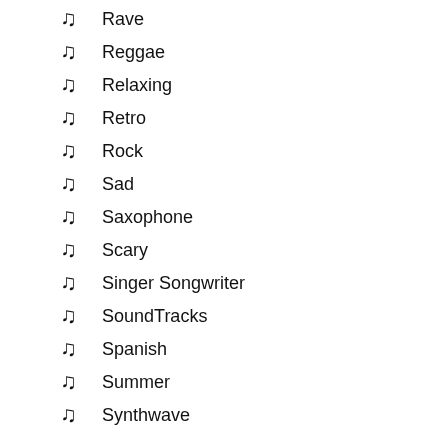♪ Rave
♪ Reggae
♪ Relaxing
♪ Retro
♪ Rock
♪ Sad
♪ Saxophone
♪ Scary
♪ Singer Songwriter
♪ SoundTracks
♪ Spanish
♪ Summer
♪ Synthwave